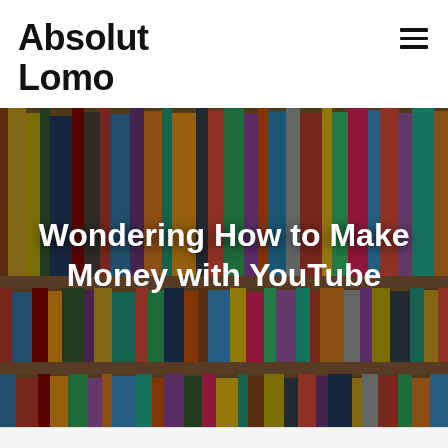Absolut Lomo
[Figure (photo): Bookshelf filled with books as background for a blog hero image]
Wondering How to Make Money with YouTube